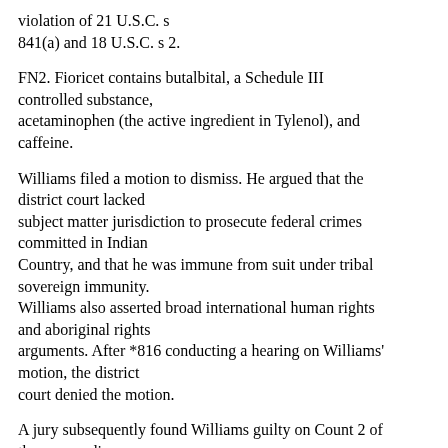violation of 21 U.S.C. s 841(a) and 18 U.S.C. s 2.
FN2. Fioricet contains butalbital, a Schedule III controlled substance, acetaminophen (the active ingredient in Tylenol), and caffeine.
Williams filed a motion to dismiss. He argued that the district court lacked subject matter jurisdiction to prosecute federal crimes committed in Indian Country, and that he was immune from suit under tribal sovereign immunity. Williams also asserted broad international human rights and aboriginal rights arguments. After *816 conducting a hearing on Williams' motion, the district court denied the motion.
A jury subsequently found Williams guilty on Count 2 of the superseding indictment (conspiracy to distribute misbranded drugs